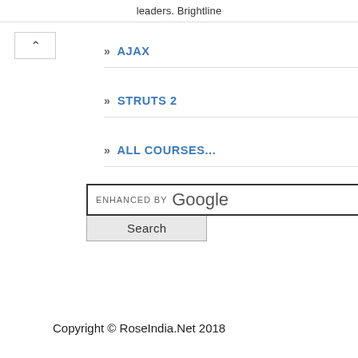leaders. Brightline
» AJAX
» STRUTS 2
» ALL COURSES...
[Figure (screenshot): Google search box with 'ENHANCED BY Google' text and a Search button below]
Copyright © RoseIndia.Net 2018